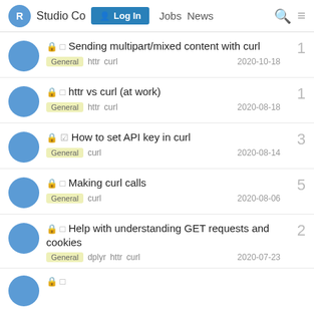RStudio Community — Log In  Jobs  News
🔒 □ Sending multipart/mixed content with curl
General  httr  curl
2020-10-18
1
🔒 □ httr vs curl (at work)
General  httr  curl
2020-08-18
1
🔒 ☑ How to set API key in curl
General  curl
2020-08-14
3
🔒 □ Making curl calls
General  curl
2020-08-06
5
🔒 □ Help with understanding GET requests and cookies
General  dplyr  httr  curl
2020-07-23
2